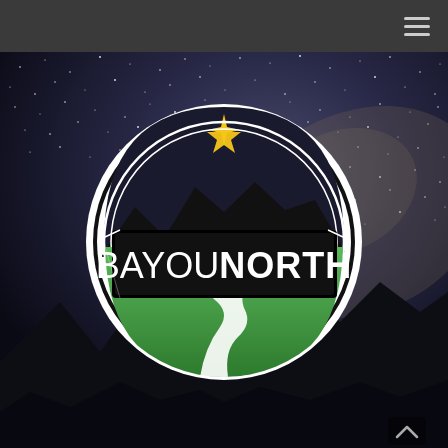Navigation bar with hamburger menu
[Figure (logo): Bayou North logo centered on a night sky / Milky Way background with mountain silhouette. The circular logo has a white outer ring, a black mountain silhouette in the upper half, a gold 4-pointed star above the mountains, a black rectangular banner in the middle reading 'BAYOU NORTH' in white text, and a green lower half with a winding white river/road. Background photo shows a starry night sky, Milky Way, and dark mountain ridgeline silhouette.]